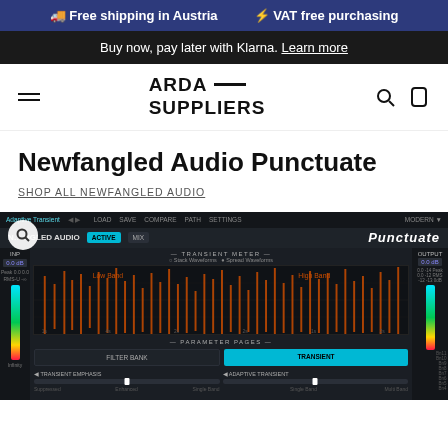Free shipping in Austria   VAT free purchasing
Buy now, pay later with Klarna. Learn more
ARDA SUPPLIERS
Newfangled Audio Punctuate
SHOP ALL NEWFANGLED AUDIO
[Figure (screenshot): Screenshot of the Newfangled Audio Punctuate plugin interface showing a transient meter with waveform display, parameter pages with Filter Bank and Transient buttons, and Transient Emphasis / Adaptive Transient controls at the bottom.]